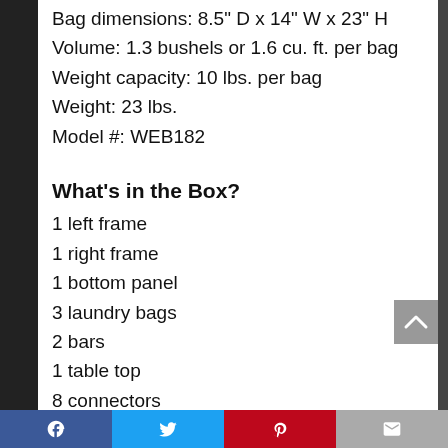Bag dimensions: 8.5" D x 14" W x 23" H
Volume: 1.3 bushels or 1.6 cu. ft. per bag
Weight capacity: 10 lbs. per bag
Weight: 23 lbs.
Model #: WEB182
What's in the Box?
1 left frame
1 right frame
1 bottom panel
3 laundry bags
2 bars
1 table top
8 connectors
6 handles